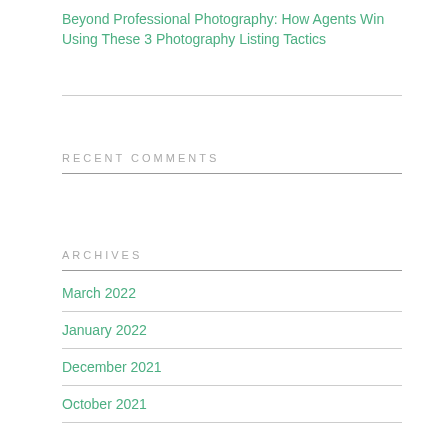Beyond Professional Photography: How Agents Win Using These 3 Photography Listing Tactics
RECENT COMMENTS
ARCHIVES
March 2022
January 2022
December 2021
October 2021
July 2021
June 2021
May 2021
April 2021